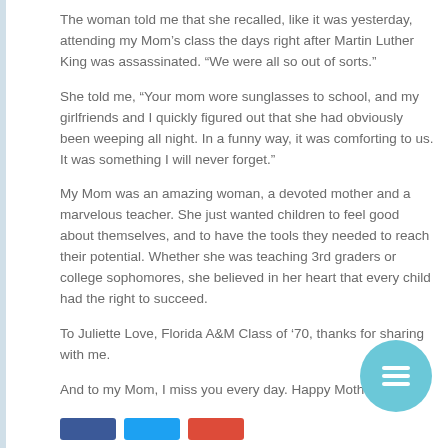The woman told me that she recalled, like it was yesterday, attending my Mom’s class the days right after Martin Luther King was assassinated. “We were all so out of sorts.”
She told me, “Your mom wore sunglasses to school, and my girlfriends and I quickly figured out that she had obviously been weeping all night. In a funny way, it was comforting to us. It was something I will never forget.”
My Mom was an amazing woman, a devoted mother and a marvelous teacher. She just wanted children to feel good about themselves, and to have the tools they needed to reach their potential. Whether she was teaching 3rd graders or college sophomores, she believed in her heart that every child had the right to succeed.
To Juliette Love, Florida A&M Class of ‘70, thanks for sharing with me.
And to my Mom, I miss you every day. Happy Mother’s